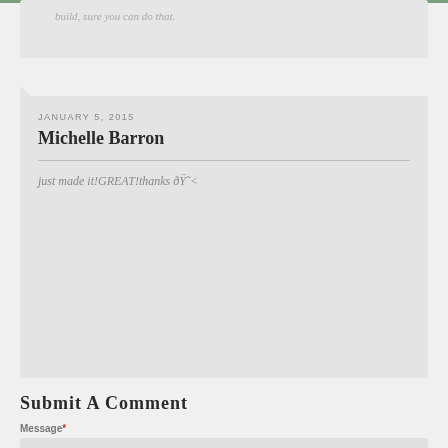build, sure you can do that.
JANUARY 5, 2015
Michelle Barron
just made it!GREAT!thanks 😊<
Submit A Comment
Message*